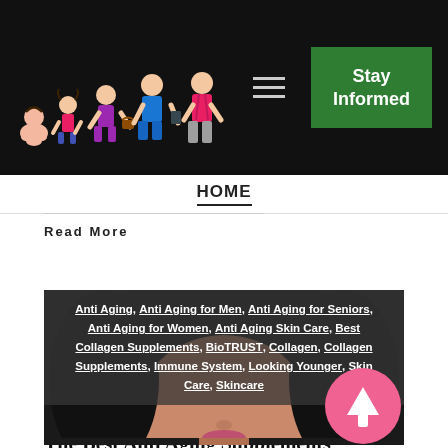[Figure (illustration): Website header with dark background showing illustration of women at different life stages (baby, child, teen, adult, professional) as a logo on the left, hamburger menu icon in the middle-right, and a green 'Stay Informed' button on the far right.]
HOME
Read More
[Figure (photo): Close-up photo of a young Asian woman's face with dark hair, subtle makeup, against dark background. Overlaid with semi-transparent dark tag cloud listing: Anti Aging, Anti Aging for Men, Anti Aging for Seniors, Anti Aging for Women, Anti Aging Skin Care, Best Collagen Supplements, BioTRUST, Collagen, Collagen Supplements, Immune System, Looking Younger, Skin Care, Skincare. Pink circular scroll-to-top arrow button in bottom-right corner.]
The Best Anti Aging Supplements